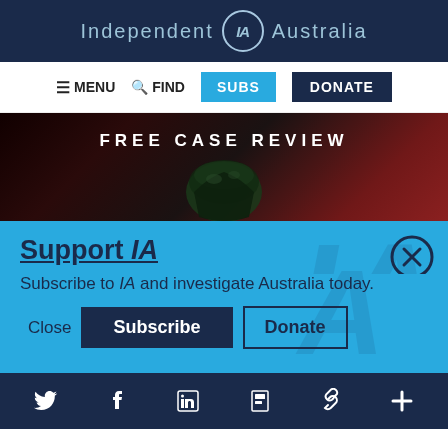Independent IA Australia
[Figure (screenshot): Navigation bar with MENU, FIND, SUBS, DONATE buttons]
[Figure (photo): Dark banner advertisement with text FREE CASE REVIEW and a glass of dark liquid]
Support IA
Subscribe to IA and investigate Australia today.
[Figure (screenshot): Popup buttons: Close, Subscribe, Donate]
Social media icons: Twitter, Facebook, LinkedIn, Flipboard, link, plus